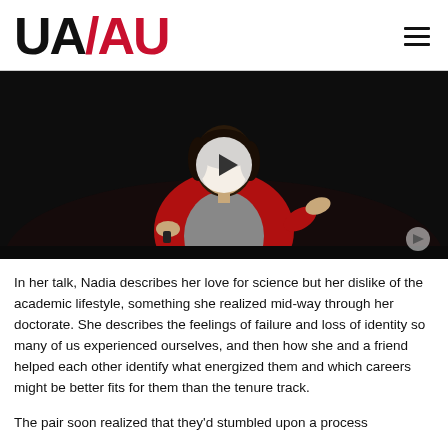UA/AU
[Figure (screenshot): Video thumbnail of a woman in a red cardigan speaking on a stage, with a play button overlay in the center.]
In her talk, Nadia describes her love for science but her dislike of the academic lifestyle, something she realized mid-way through her doctorate. She describes the feelings of failure and loss of identity so many of us experienced ourselves, and then how she and a friend helped each other identify what energized them and which careers might be better fits for them than the tenure track.
The pair soon realized that they'd stumbled upon a process